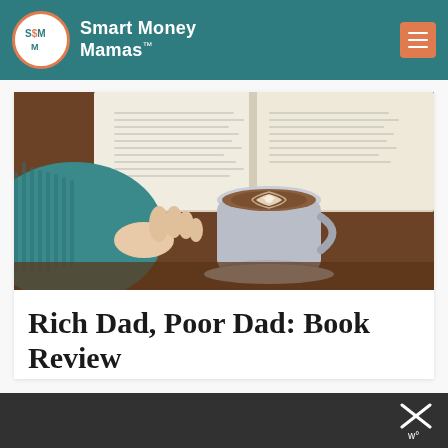Smart Money Mamas™
[Figure (photo): A hand in a teal knit sweater holding a white coffee mug with latte art, with an open book blurred in the background on a wooden surface.]
Rich Dad, Poor Dad: Book Review